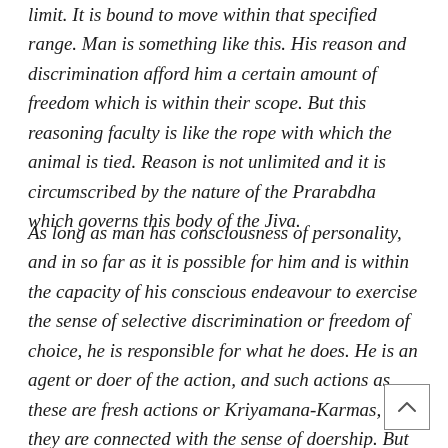limit. It is bound to move within that specified range. Man is something like this. His reason and discrimination afford him a certain amount of freedom which is within their scope. But this reasoning faculty is like the rope with which the animal is tied. Reason is not unlimited and it is circumscribed by the nature of the Prarabdha which governs this body of the Jiva.
As long as man has consciousness of personality, and in so far as it is possible for him and is within the capacity of his conscious endeavour to exercise the sense of selective discrimination or freedom of choice, he is responsible for what he does. He is an agent or doer of the action, and such actions as these are fresh actions or Kriyamana-Karmas, as they are connected with the sense of doership. But if events occur when he is incapable of using this power of understanding, as when he is not in his body-